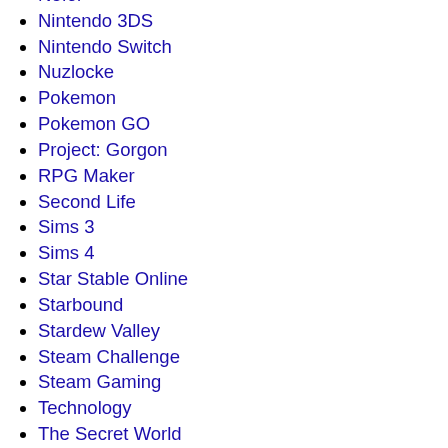Nefol
Nintendo 3DS
Nintendo Switch
Nuzlocke
Pokemon
Pokemon GO
Project: Gorgon
RPG Maker
Second Life
Sims 3
Sims 4
Star Stable Online
Starbound
Stardew Valley
Steam Challenge
Steam Gaming
Technology
The Secret World
Ukulele
Ultima Online
Uncategorized
Valheim
Videos
Virtual Pets
Webcomics